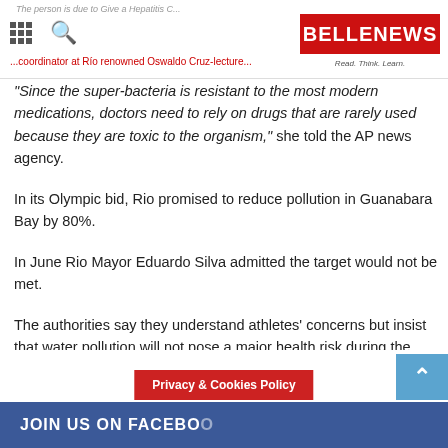BELLE NEWS — Read. Think. Learn.
"Since the super-bacteria is resistant to the most modern medications, doctors need to rely on drugs that are rarely used because they are toxic to the organism," she told the AP news agency.
In its Olympic bid, Rio promised to reduce pollution in Guanabara Bay by 80%.
In June Rio Mayor Eduardo Silva admitted the target would not be met.
The authorities say they understand athletes' concerns but insist that water pollution will not pose a major health risk during the Olympics, which will held in August 2016.
JOIN US ON FACEBOOK | Privacy & Cookies Policy